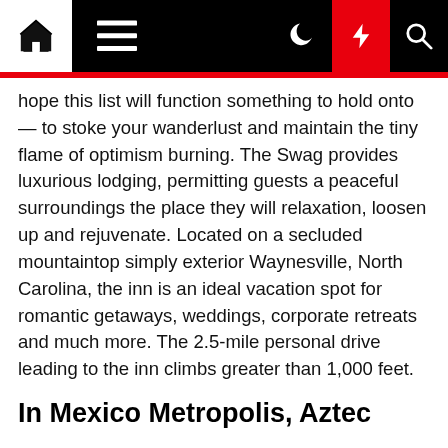Navigation bar with home, menu, moon, bolt, and search icons
hope this list will function something to hold onto — to stoke your wanderlust and maintain the tiny flame of optimism burning. The Swag provides luxurious lodging, permitting guests a peaceful surroundings the place they will relaxation, loosen up and rejuvenate. Located on a secluded mountaintop simply exterior Waynesville, North Carolina, the inn is an ideal vacation spot for romantic getaways, weddings, corporate retreats and much more. The 2.5-mile personal drive leading to the inn climbs greater than 1,000 feet.
In Mexico Metropolis, Aztec
Most Georgians have been to or have handed via this city at one time or another, but it's unlikely that many selected this as a vacation spot for a fun-filled